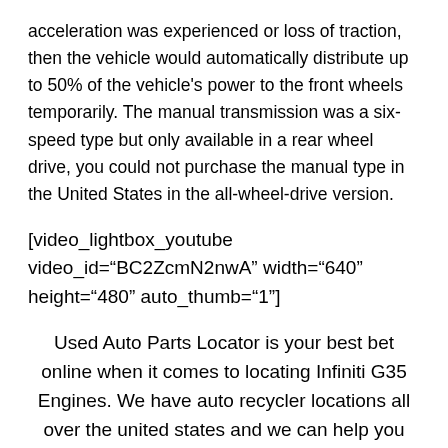acceleration was experienced or loss of traction, then the vehicle would automatically distribute up to 50% of the vehicle's power to the front wheels temporarily. The manual transmission was a six-speed type but only available in a rear wheel drive, you could not purchase the manual type in the United States in the all-wheel-drive version.
[video_lightbox_youtube video_id="BC2ZcmN2nwA" width="640" height="480" auto_thumb="1"]
Used Auto Parts Locator is your best bet online when it comes to locating Infiniti G35 Engines. We have auto recycler locations all over the united states and we can help you find quality Infiniti G35 Engines because of the locations we have.